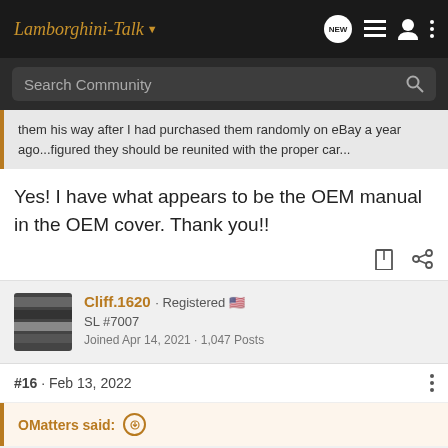Lamborghini-Talk
Search Community
them his way after I had purchased them randomly on eBay a year ago...figured they should be reunited with the proper car...
Yes! I have what appears to be the OEM manual in the OEM cover. Thank you!!
Cliff.1620 · Registered
SL #7007
Joined Apr 14, 2021 · 1,047 Posts
#16 · Feb 13, 2022
OMatters said: